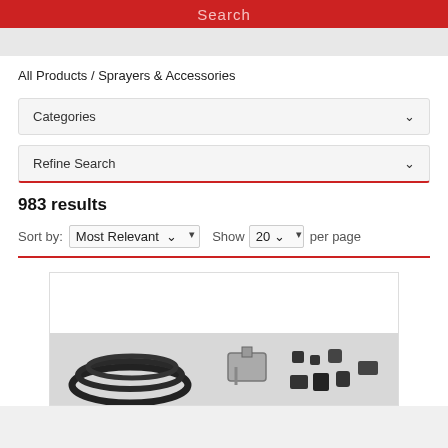Search
All Products / Sprayers & Accessories
Categories
Refine Search
983 results
Sort by: Most Relevant ▾  Show  20 ▾  per page
[Figure (photo): Product image showing hoses, a pump/valve component, and various black fittings/connectors for a sprayer kit.]